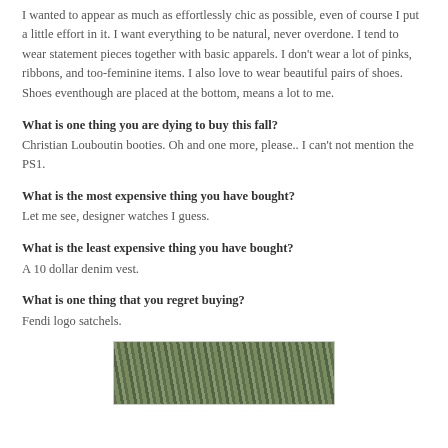I wanted to appear as much as effortlessly chic as possible, even of course I put a little effort in it. I want everything to be natural, never overdone. I tend to wear statement pieces together with basic apparels. I don't wear a lot of pinks, ribbons, and too-feminine items. I also love to wear beautiful pairs of shoes. Shoes eventhough are placed at the bottom, means a lot to me.
What is one thing you are dying to buy this fall?
Christian Louboutin booties. Oh and one more, please.. I can't not mention the PS1.
What is the most expensive thing you have bought?
Let me see, designer watches I guess.
What is the least expensive thing you have bought?
A 10 dollar denim vest.
What is one thing that you regret buying?
Fendi logo satchels.
[Figure (photo): Photo of green leafy plants/bushes, partially visible at the bottom of the page]